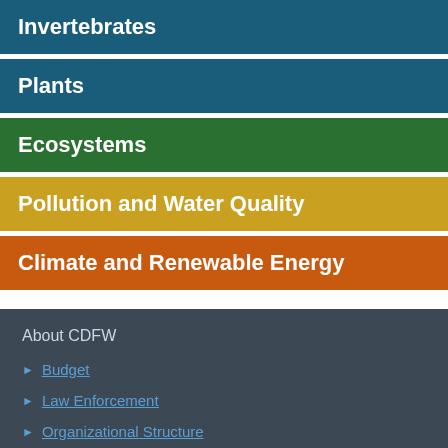Invertebrates
Plants
Ecosystems
Pollution and Water Quality
Climate and Renewable Energy
About CDFW
Budget
Law Enforcement
Organizational Structure